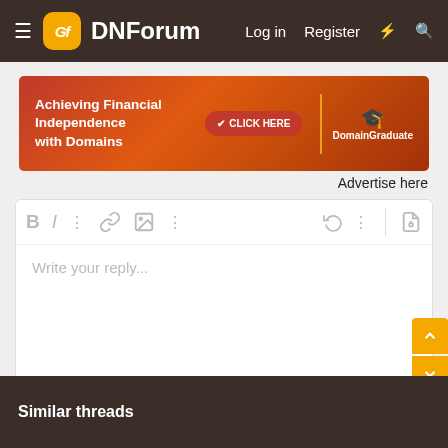DNForum — Log in  Register
[Figure (infographic): Banner ad: Achieving Financial Independence with Domains — CLICK HERE — DomainGraduate]
Advertise here
[Figure (screenshot): Reply editor text area with toolbar icons (Bold, Italic, dots, link, image, dots, undo, dots) and preview icon, with placeholder text 'Write your reply...']
Post reply
Similar threads